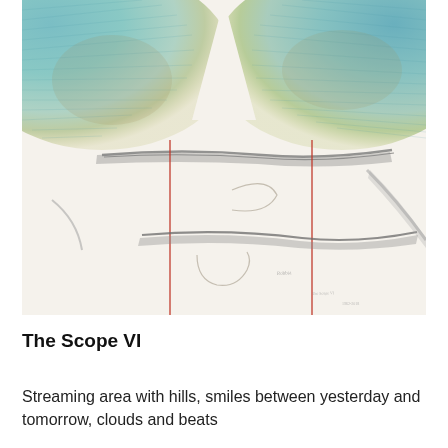[Figure (illustration): Abstract artwork showing teal/blue and olive-colored flowing shapes at the top, transitioning to a cream/white background with diagonal graphite lines, red vertical lines, and faint pencil sketch curves in the middle and lower portions. The piece has a layered, mixed-media quality.]
The Scope VI
Streaming area with hills, smiles between yesterday and tomorrow, clouds and beats